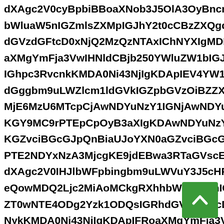dXAgc2V0cyBpbiBBoaXNob3J5OlA3OyBncm91cDcHMg bWluaW5nIGZmlsZXMpIGJhY2t0cCBzZXQgd dGVzdGFtcD0xNjQ2MzQzNTAxIChNYXIgMDMgMj aXMgYmFja3VwIHNldCBjb250YWluZW1bIGJvbXBhcmVz IGhpc3RvcnkKMDA0Ni43NjIgKDApIEV4YW1pbm dGggbm9uLWZlcm1ldGVkIGZpbGVzOiBZZXJcIBkYXRlc3RhbXAgMjEwNzY0MTcpIEZjcCAwNDYuNzY1IGNjAwNDYuNzY1IGN MjE6MzU6MTcpCjAwNDYuNzYwCjAwNDYuNzYw KGY9MC9rPTEpCpOyB3aXIgKOyB3aXI KGZvciBGcGJpQnBiaUJoYXN0aGZvciBGcGJpQnBia KGZvciBKGZvciBKGZvciBGcmFja0IG5vbiBFMjNDY3Ig5vbiBFMjNDY3Ig PTE2NDYxNzA3MjcgKE9jdEBwa3RTaGVscE5 PTE2NDYxNzA3MjcgKE9jdEBwa3RTaGVscE5 ZT0wNTE4ODg2Yzk1ODQsIGRhdGVzdGFtcD0xNjQ NykKMDA0Ni43NjIgKDApIFRoaXMgYmFja3VwIHN MCk7IHdpbGwgcmV0YWluIGluIGVuY3J5cHRlZApBRG MCk7IHdpbGwgcmV0YWluIGluIGVuY3J5cHRlZApBRG bGVzKSBiYWNrdXAgc2V0IGNvbnRhaW5zIG1vcmUgKE5 NDI2MiAoRmViIlDIxIDIwMjIgMjIgNjNDlpCjAwN
[Figure (other): Green scroll-to-top button with upward chevron arrow icon, positioned in bottom-right corner]